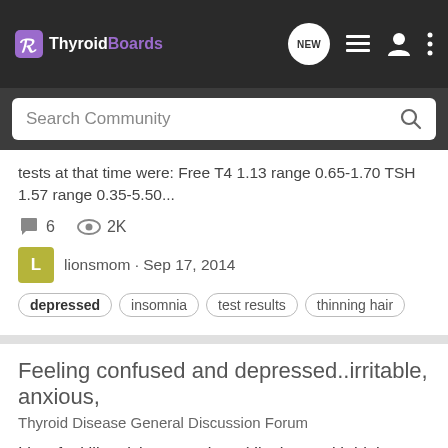ThyroidBoards
Search Community
tests at that time were: Free T4 1.13 range 0.65-1.70 TSH 1.57 range 0.35-5.50...
6  2K
lionsmom · Sep 17, 2014
depressed  insomnia  test results  thinning hair
Feeling confused and depressed..irritable, anxious,
Thyroid Disease General Discussion Forum
I just feel like giving up today :-( I'm hypo with high antibodies, taking 30 mg armour thyroid for 4-5 wks, was feeling a little better, less brain fog, less muscle aches, and have lost 8 lbs. How ever I am still struggling with energy throughout the day. Heavy body and arms especially,